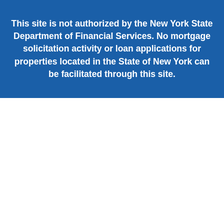This site is not authorized by the New York State Department of Financial Services. No mortgage solicitation activity or loan applications for properties located in the State of New York can be facilitated through this site.